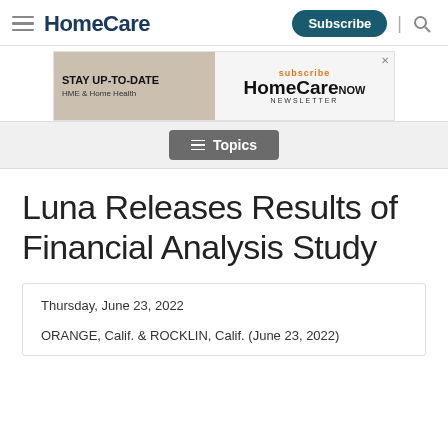HomeCare | Subscribe
[Figure (infographic): Advertisement banner for HomeCare NOW Newsletter — 'Stay Up-To-Date HME & Home Health' with a subscribe call to action]
Topics
Luna Releases Results of Financial Analysis Study
Thursday, June 23, 2022
ORANGE, Calif. & ROCKLIN, Calif. (June 23, 2022)